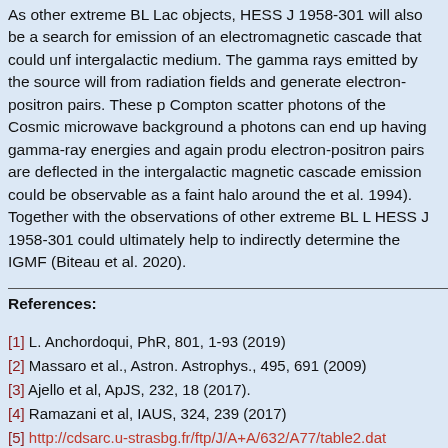As other extreme BL Lac objects, HESS J 1958-301 will also be a search for emission of an electromagnetic cascade that could unf intergalactic medium. The gamma rays emitted by the source will from radiation fields and generate electron-positron pairs. These p Compton scatter photons of the Cosmic microwave background a photons can end up having gamma-ray energies and again produ electron-positron pairs are deflected in the intergalactic magnetic cascade emission could be observable as a faint halo around the et al. 1994). Together with the observations of other extreme BL L HESS J 1958-301 could ultimately help to indirectly determine the IGMF (Biteau et al. 2020).
References:
[1] L. Anchordoqui, PhR, 801, 1-93 (2019)
[2] Massaro et al., Astron. Astrophys., 495, 691 (2009)
[3] Ajello et al, ApJS, 232, 18 (2017).
[4] Ramazani et al, IAUS, 324, 239 (2017)
[5] http://cdsarc.u-strasbg.fr/ftp/J/A+A/632/A77/table2.dat
[6] Abdollahi et el., ApJS, 247, 33 (2020)
[7] Corruti et al, MNRAS, 448, 910 (2015)